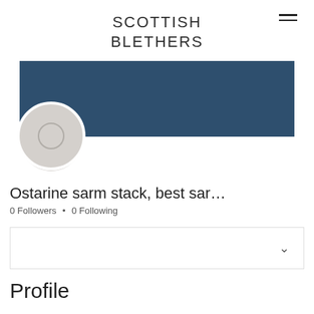SCOTTISH BLETHERS
[Figure (screenshot): User profile banner in dark blue/navy color with Message and Follow buttons, a circular avatar placeholder, and a three-dot menu icon]
Ostarine sarm stack, best sar…
0 Followers • 0 Following
[Figure (screenshot): Dropdown/collapse box with a chevron (down arrow) on the right side]
Profile